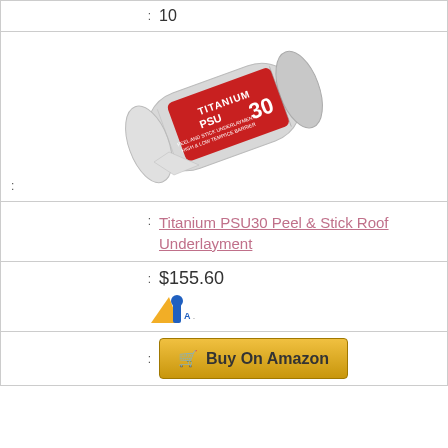: 10
[Figure (photo): Roll of Titanium PSU30 Peel & Stick High & Low Temp/Ice Barrier underlayment product, tilted at an angle showing the label]
:
: Titanium PSU30 Peel & Stick Roof Underlayment
: $155.60
: Buy On Amazon